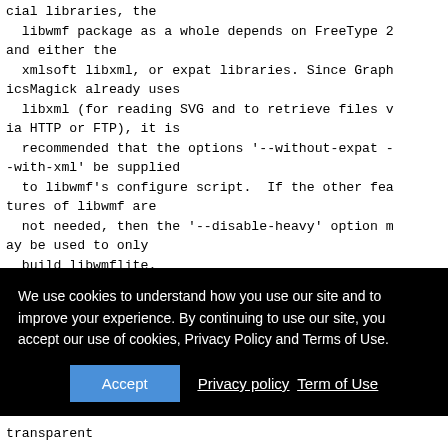cial libraries, the
  libwmf package as a whole depends on FreeType 2 and either the
  xmlsoft libxml, or expat libraries. Since GraphicsMagick already uses
  libxml (for reading SVG and to retrieve files via HTTP or FTP), it is
  recommended that the options '--without-expat --with-xml' be supplied
  to libwmf's configure script.  If the other features of libwmf are
  not needed, then the '--disable-heavy' option may be used to only
  build libwmflite.

  GraphicsMagick's WMF renderer provides some of the finest WMF
We use cookies to understand how you use our site and to improve your experience. By continuing to use our site, you accept our use of cookies, Privacy Policy and Terms of Use.
Accept   Privacy policy  Term of Use
transparent